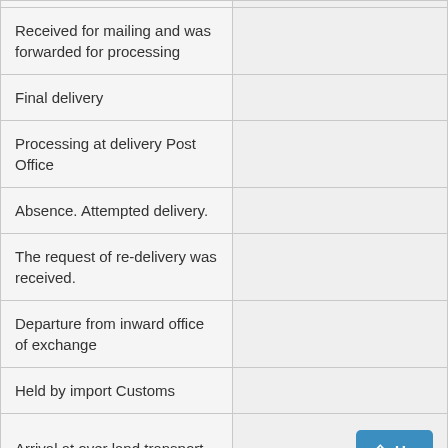| Received for mailing and was forwarded for processing |  |
| Final delivery |  |
| Processing at delivery Post Office |  |
| Absence. Attempted delivery. |  |
| The request of re-delivery was received. |  |
| Departure from inward office of exchange |  |
| Held by import Customs |  |
| Arrival at over land transport |  |
|  |  |